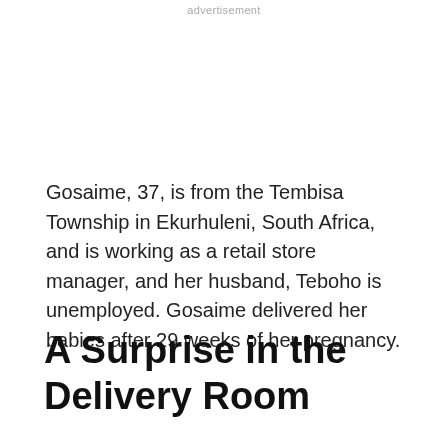advertisement
Gosaime, 37, is from the Tembisa Township in Ekurhuleni, South Africa, and is working as a retail store manager, and her husband, Teboho is unemployed. Gosaime delivered her babies after 29 weeks of her pregnancy.
A Surprise in the Delivery Room